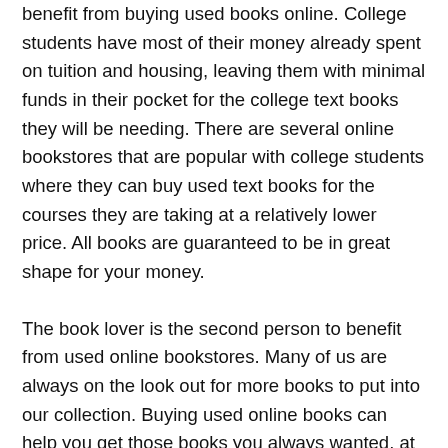benefit from buying used books online. College students have most of their money already spent on tuition and housing, leaving them with minimal funds in their pocket for the college text books they will be needing. There are several online bookstores that are popular with college students where they can buy used text books for the courses they are taking at a relatively lower price. All books are guaranteed to be in great shape for your money.
The book lover is the second person to benefit from used online bookstores. Many of us are always on the look out for more books to put into our collection. Buying used online books can help you get those books you always wanted, at the fraction of the price.
It is quite simple to find online bookstores that sell used books. By doing Google search, you will generate pages of result online bookstores. Some may be locals, but most